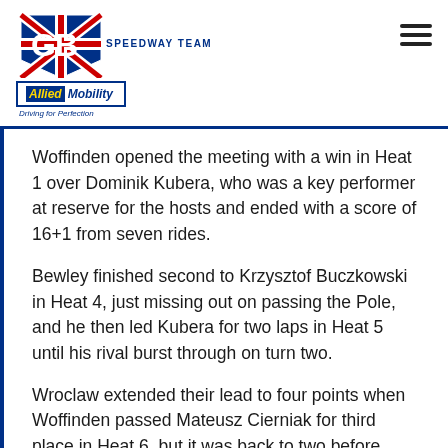GB Speedway Team - Allied Mobility - Driving for Perfection
Woffinden opened the meeting with a win in Heat 1 over Dominik Kubera, who was a key performer at reserve for the hosts and ended with a score of 16+1 from seven rides.
Bewley finished second to Krzysztof Buczkowski in Heat 4, just missing out on passing the Pole, and he then led Kubera for two laps in Heat 5 until his rival burst through on turn two.
Wroclaw extended their lead to four points when Woffinden passed Mateusz Cierniak for third place in Heat 6, but it was back to two before Bewley brilliantly won Heat 11 ahead of Mikkel Michelsen,